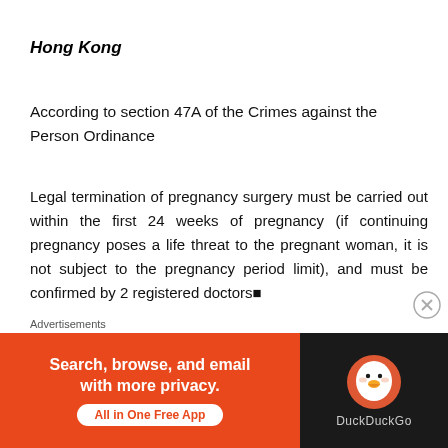Hong Kong
According to section 47A of the Crimes against the Person Ordinance
Legal termination of pregnancy surgery must be carried out within the first 24 weeks of pregnancy (if continuing pregnancy poses a life threat to the pregnant woman, it is not subject to the pregnancy period limit), and must be confirmed by 2 registered doctors.
Continuing pregnancy will pose a greater threat to the life of the pregnant woman or the physical or mental health of the pregnant woman than terminating the
Advertisements
[Figure (other): DuckDuckGo advertisement banner: orange section with text 'Search, browse, and email with more privacy. All in One Free App' and dark section with DuckDuckGo logo]